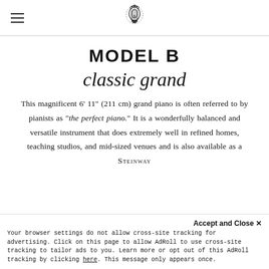Steinway & Sons logo and hamburger menu
MODEL B
classic grand
This magnificent 6' 11" (211 cm) grand piano is often referred to by pianists as "the perfect piano." It is a wonderfully balanced and versatile instrument that does extremely well in refined homes, teaching studios, and mid-sized venues and is also available as a STEINWAY
Accept and Close ✕
Your browser settings do not allow cross-site tracking for advertising. Click on this page to allow AdRoll to use cross-site tracking to tailor ads to you. Learn more or opt out of this AdRoll tracking by clicking here. This message only appears once.